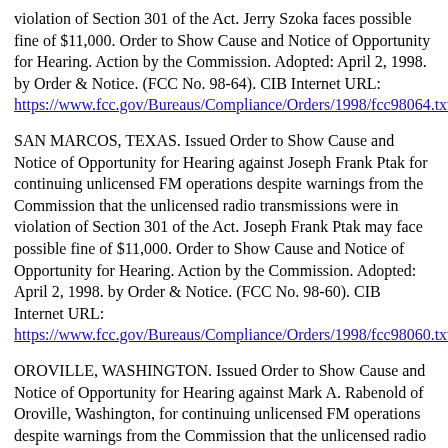violation of Section 301 of the Act. Jerry Szoka faces possible fine of $11,000. Order to Show Cause and Notice of Opportunity for Hearing. Action by the Commission. Adopted: April 2, 1998. by Order & Notice. (FCC No. 98-64). CIB Internet URL: https://www.fcc.gov/Bureaus/Compliance/Orders/1998/fcc98064.txt
SAN MARCOS, TEXAS. Issued Order to Show Cause and Notice of Opportunity for Hearing against Joseph Frank Ptak for continuing unlicensed FM operations despite warnings from the Commission that the unlicensed radio transmissions were in violation of Section 301 of the Act. Joseph Frank Ptak may face possible fine of $11,000. Order to Show Cause and Notice of Opportunity for Hearing. Action by the Commission. Adopted: April 2, 1998. by Order & Notice. (FCC No. 98-60). CIB Internet URL: https://www.fcc.gov/Bureaus/Compliance/Orders/1998/fcc98060.txt
OROVILLE, WASHINGTON. Issued Order to Show Cause and Notice of Opportunity for Hearing against Mark A. Rabenold of Oroville, Washington, for continuing unlicensed FM operations despite warnings from the Commission that the unlicensed radio tranmissions were in violation of Section 301 of the Act. Mark A Rabenold may face possible fine of $11,000. Order to Show Cause and Notice of Opportunity for Hearing. Action by the Commission. Adopted: April 2, 1998. by Order & Notice. (FCC No. 98-63). CIB